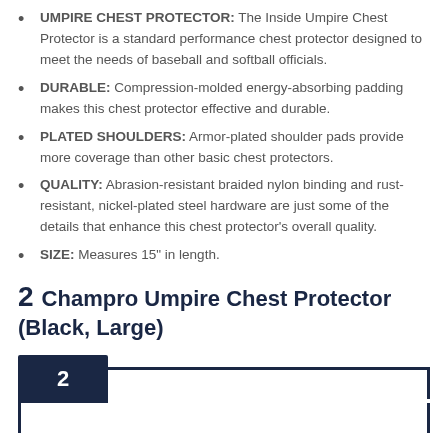UMPIRE CHEST PROTECTOR: The Inside Umpire Chest Protector is a standard performance chest protector designed to meet the needs of baseball and softball officials.
DURABLE: Compression-molded energy-absorbing padding makes this chest protector effective and durable.
PLATED SHOULDERS: Armor-plated shoulder pads provide more coverage than other basic chest protectors.
QUALITY: Abrasion-resistant braided nylon binding and rust-resistant, nickel-plated steel hardware are just some of the details that enhance this chest protector's overall quality.
SIZE: Measures 15" in length.
2  Champro Umpire Chest Protector (Black, Large)
[Figure (other): Ranking badge showing number 2 in a dark navy box with a border outline below it.]